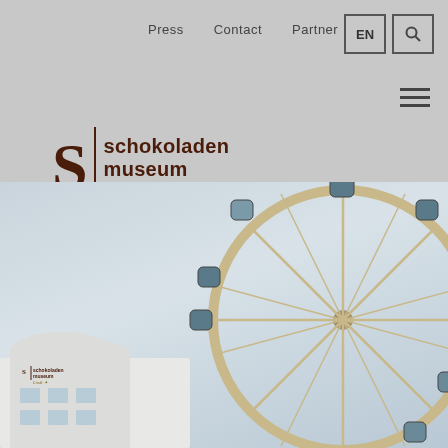Press | Contact | Partner | EN | Search
[Figure (logo): Schokoladenmuseum Lindt logo with large S letter, vertical divider, and text 'schokoladenmuseum' with Lindt brand name in gold italic]
[Figure (photo): Outdoor photograph showing the Schokoladenmuseum Lindt building at bottom left with its logo, and a large ferris wheel on the right side against a cloudy sky]